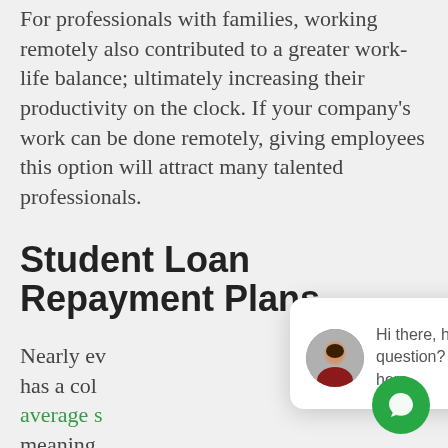For professionals with families, working remotely also contributed to a greater work-life balance; ultimately increasing their productivity on the clock. If your company's work can be done remotely, giving employees this option will attract many talented professionals.
Student Loan Repayment Plans
Nearly every... has a college... average s... meaning ... employees will be paying for their education well into their later years. Many companies have taken to setting up student loan repayment plans that
[Figure (other): Chat popup with avatar photo of a woman and text 'Hi there, have a question? Text us here.' with a close button and a green circular chat icon button.]